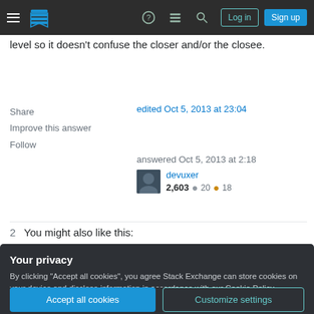Stack Exchange navigation bar with Log in and Sign up buttons
level so it doesn't confuse the closer and/or the closee.
Share
Improve this answer
Follow
edited Oct 5, 2013 at 23:04
answered Oct 5, 2013 at 2:18
devuxer
2,603 ● 20 ● 18
2    You might also like this:
Your privacy
By clicking "Accept all cookies", you agree Stack Exchange can store cookies on your device and disclose information in accordance with our Cookie Policy.
Accept all cookies    Customize settings
2    Often, I search Google when I have a programming